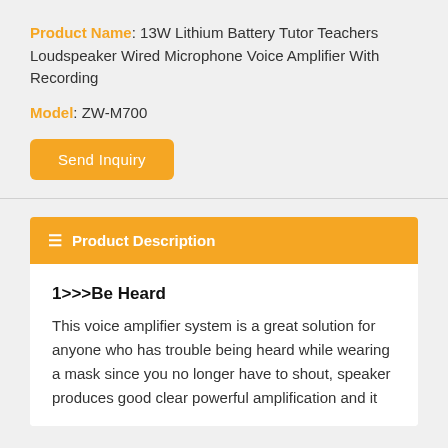Product Name: 13W Lithium Battery Tutor Teachers Loudspeaker Wired Microphone Voice Amplifier With Recording
Model: ZW-M700
Send Inquiry
Product Description
1>>>Be Heard
This voice amplifier system is a great solution for anyone who has trouble being heard while wearing a mask since you no longer have to shout, speaker produces good clear powerful amplification and it